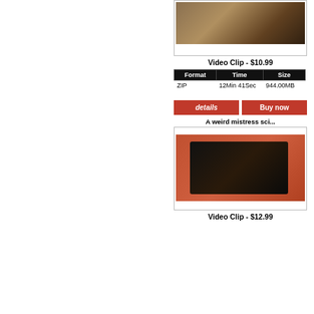[Figure (photo): Product thumbnail image showing person on floor with rug, partial view]
Video Clip - $10.99
| Format | Time | Size |
| --- | --- | --- |
| ZIP | 12Min 41Sec | 944.00MB |
[Figure (other): details button (red)]
[Figure (other): Buy now button (red)]
A weird mistress sci...
[Figure (photo): Product thumbnail image showing person in black outfit on orange floor]
Video Clip - $12.99